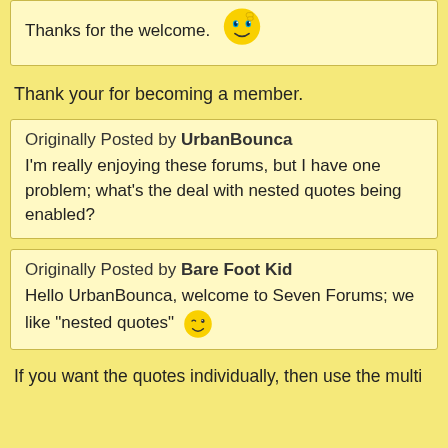Thanks for the welcome. [thumbs up emoji]
Thank your for becoming a member.
Originally Posted by UrbanBounca
I'm really enjoying these forums, but I have one problem; what's the deal with nested quotes being enabled?
Originally Posted by Bare Foot Kid
Hello UrbanBounca, welcome to Seven Forums; we like "nested quotes" [wink emoji]
If you want the quotes individually, then use the multi